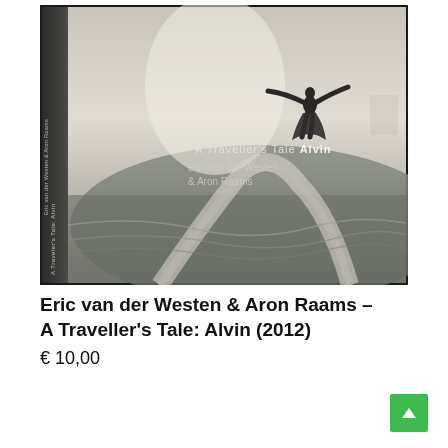[Figure (illustration): Album cover for 'A Traveller's Tale: Alvin' by Eric van der Westen & Aron Raams (2012). Moody black-and-white image of a silhouetted figure with arms outstretched standing near a misty shoreline. The spine of the book is visible on the left. Title text overlaid on the image reads: 'A Traveller's Tale  Alvin / Eric van der Westen / & Aron Raams'.]
Eric van der Westen & Aron Raams – A Traveller's Tale: Alvin (2012)
€ 10,00